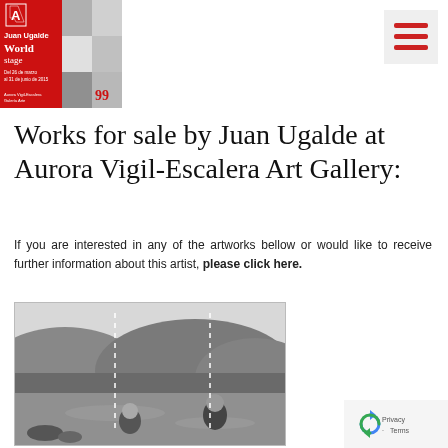[Figure (illustration): Book cover for Juan Ugalde 'World Stage' exhibition at Aurora Vigil-Escalera Art Gallery, showing a red and black cover with grid of small photos]
[Figure (illustration): Hamburger menu icon with three red horizontal lines on light grey background]
Works for sale by Juan Ugalde at Aurora Vigil-Escalera Art Gallery:
If you are interested in any of the artworks bellow or would like to receive further information about this artist, please click here.
[Figure (photo): Black and white photograph of two people in a rocky river or lake, with dashed vertical lines overlaid on the landscape, hills in the background]
[Figure (other): Google reCAPTCHA privacy badge with rotating arrow icon, Privacy and Terms text]